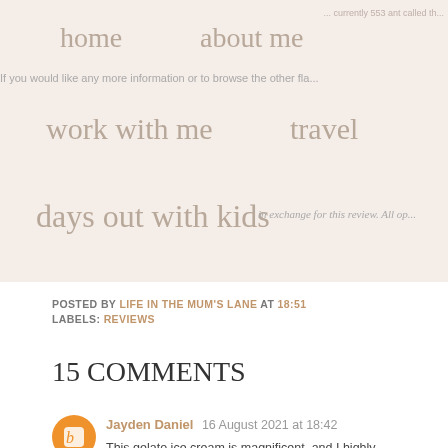home   about me   work with me   travel   days out with kids
If you would like any more information or to browse the other fla...
Disclosure: in exchange for this review. All op...
POSTED BY LIFE IN THE MUM'S LANE AT 18:51
LABELS: REVIEWS
15 COMMENTS
Jayden Daniel 16 August 2021 at 18:42
This gelato ice cream is magnificent, and I highly recommend you to quality assignment help uk from this ice cream shop. You'll thank me for...
Reply
Alina Florence 30 August 2021 at 08:52
I love gelato ice cream post and it this great looks good. When I ta...